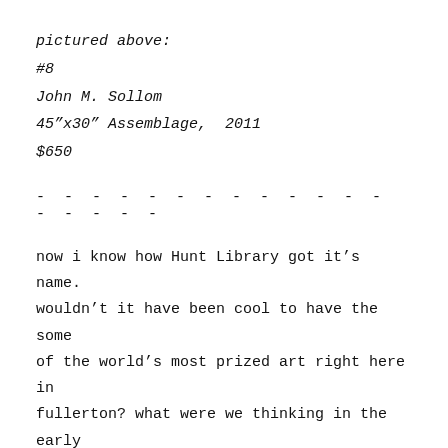pictured above:
#8
John M. Sollom
45"x30" Assemblage,  2011
$650
- - - - - - - - - - - - - - - - - -
now i know how Hunt Library got it's name. wouldn't it have been cool to have the some of the world's most prized art right here in fullerton? what were we thinking in the early sixties? man, i wish i were alive then…